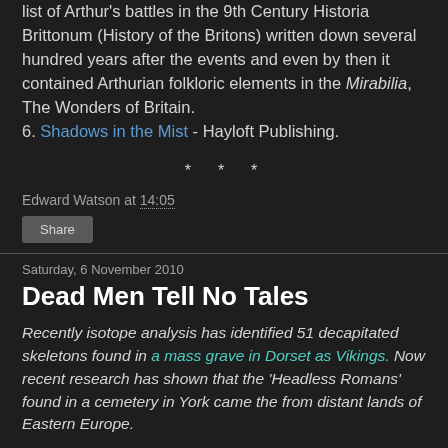list of Arthur's battles in the 9th Century Historia Brittonum (History of the Britons) written down several hundred years after the events and even by then it contained Arthurian folkloric elements in the Mirabilia, The Wonders of Britain.
6. Shadows in the Mist - Hayloft Publishing.
* * *
Edward Watson at 14:05
Share
Saturday, 6 November 2010
Dead Men Tell No Tales
Recently isotope analysis has identified 51 decapitated skeletons found in a mass grave in Dorset as Vikings. Now recent research has shown that the 'Headless Romans' found in a cemetery in York came the from distant lands of Eastern Europe.